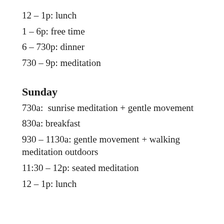12 – 1p: lunch
1 – 6p: free time
6 – 730p: dinner
730 – 9p: meditation
Sunday
730a:  sunrise meditation + gentle movement
830a: breakfast
930 – 1130a: gentle movement + walking meditation outdoors
11:30 – 12p: seated meditation
12 – 1p: lunch